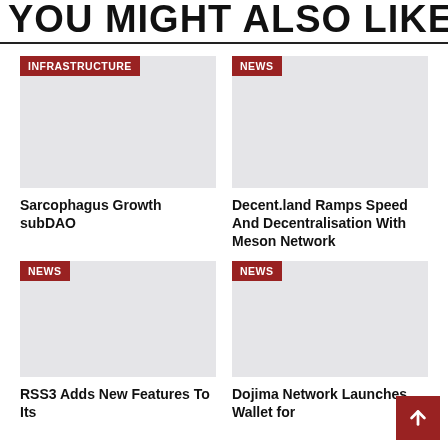YOU MIGHT ALSO LIKE
[Figure (other): Placeholder image for Sarcophagus Growth subDAO article with INFRASTRUCTURE category badge]
Sarcophagus Growth subDAO
[Figure (other): Placeholder image for Decent.land Ramps Speed And Decentralisation With Meson Network article with NEWS category badge]
Decent.land Ramps Speed And Decentralisation With Meson Network
[Figure (other): Placeholder image for RSS3 Adds New Features To Its article with NEWS category badge]
RSS3 Adds New Features To Its
[Figure (other): Placeholder image for Dojima Network Launches Wallet for article with NEWS category badge]
Dojima Network Launches Wallet for